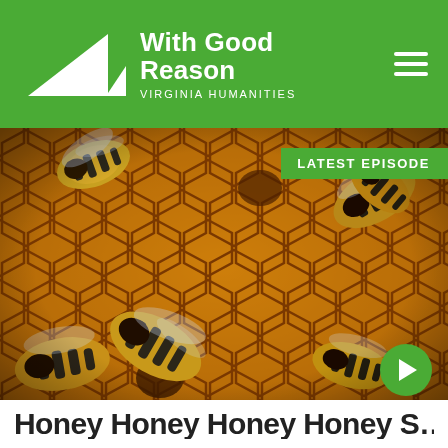With Good Reason — Virginia Humanities
LATEST EPISODE
[Figure (photo): Close-up macro photograph of honey bees on a honeycomb, showing hexagonal wax cells in amber/orange tones with multiple bees with black and yellow striped abdomens moving across the comb.]
Honey Honey Honey Honey S...